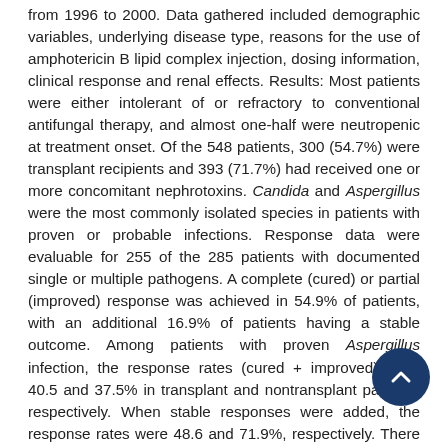from 1996 to 2000. Data gathered included demographic variables, underlying disease type, reasons for the use of amphotericin B lipid complex injection, dosing information, clinical response and renal effects. Results: Most patients were either intolerant of or refractory to conventional antifungal therapy, and almost one-half were neutropenic at treatment onset. Of the 548 patients, 300 (54.7%) were transplant recipients and 393 (71.7%) had received one or more concomitant nephrotoxins. Candida and Aspergillus were the most commonly isolated species in patients with proven or probable infections. Response data were evaluable for 255 of the 285 patients with documented single or multiple pathogens. A complete (cured) or partial (improved) response was achieved in 54.9% of patients, with an additional 16.9% of patients having a stable outcome. Among patients with proven Aspergillus infection, the response rates (cured + improved) were 40.5 and 37.5% in transplant and nontransplant patients, respectively. When stable responses were added, the response rates were 48.6 and 71.9%, respectively. There were few clinically significant deleterious effects on renal function. There was no significant difference between the rates of new hemodialysis versus baseline hemodialysis. Elevations in serum creatinine of >1.5 X baseline and >2.5 X baseline values were seen in 24.8 and 8.8% of all